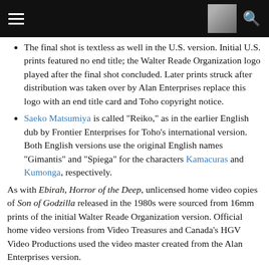[hamburger menu] [thumbnail image] [search icon]
The final shot is textless as well in the U.S. version. Initial U.S. prints featured no end title; the Walter Reade Organization logo played after the final shot concluded. Later prints struck after distribution was taken over by Alan Enterprises replace this logo with an end title card and Toho copyright notice.
Saeko Matsumiya is called "Reiko," as in the earlier English dub by Frontier Enterprises for Toho's international version. Both English versions use the original English names "Gimantis" and "Spiega" for the characters Kamacuras and Kumonga, respectively.
As with Ebirah, Horror of the Deep, unlicensed home video copies of Son of Godzilla released in the 1980s were sourced from 16mm prints of the initial Walter Reade Organization version. Official home video versions from Video Treasures and Canada's HGV Video Productions used the video master created from the Alan Enterprises version.
Columbia TriStar Home Video released the film on DVD in 2004. Visually, the DVD is based on Toho's uncut international version, although the English titles and credits were digitally recreated. Neither of the Japanese and English audio tracks included on the disc had been officially heard in the U.S. before; the international English dub, originally recorded by Frontier Enterprises in Tokyo in the 1960s, had only been